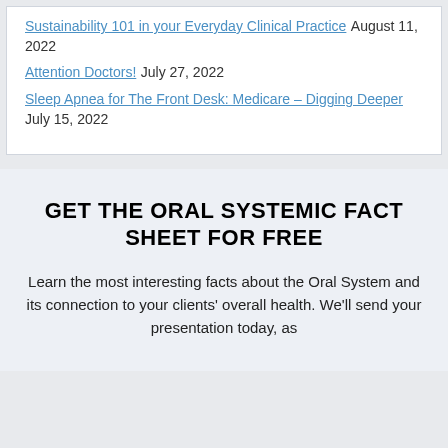Sustainability 101 in your Everyday Clinical Practice  August 11, 2022
Attention Doctors!  July 27, 2022
Sleep Apnea for The Front Desk: Medicare – Digging Deeper  July 15, 2022
GET THE ORAL SYSTEMIC FACT SHEET FOR FREE
Learn the most interesting facts about the Oral System and its connection to your clients' overall health. We'll send your presentation today, as